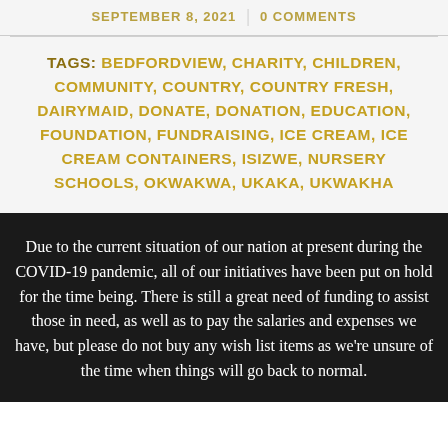SEPTEMBER 8, 2021 | 0 COMMENTS
TAGS: BEDFORDVIEW, CHARITY, CHILDREN, COMMUNITY, COUNTRY, COUNTRY FRESH, DAIRYMAID, DONATE, DONATION, EDUCATION, FOUNDATION, FUNDRAISING, ICE CREAM, ICE CREAM CONTAINERS, ISIZWE, NURSERY SCHOOLS, OKWAKWA, UKAKA, UKWAKHA
Due to the current situation of our nation at present during the COVID-19 pandemic, all of our initiatives have been put on hold for the time being. There is still a great need of funding to assist those in need, as well as to pay the salaries and expenses we have, but please do not buy any wish list items as we're unsure of the time when things will go back to normal.